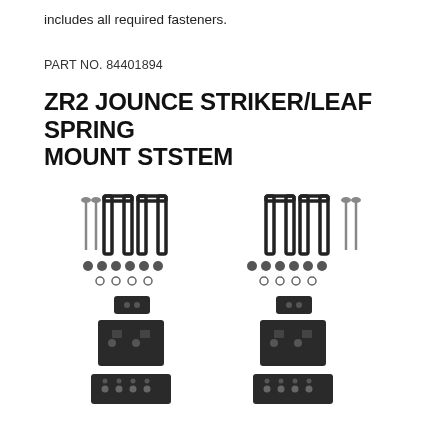includes all required fasteners.
PART NO. 84401894
ZR2 JOUNCE STRIKER/LEAF SPRING MOUNT STSTEM
[Figure (photo): Product photo showing two sets of ZR2 jounce striker/leaf spring mount system components. Each set includes U-bolts, threaded bolts, small washers/nuts, a small block, a mounting bracket, and a flat plate with bolt holes. Components are arranged symmetrically, left and right side kits, all finished in matte black.]